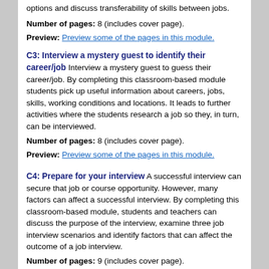options and discuss transferability of skills between jobs.
Number of pages: 8 (includes cover page).
Preview: Preview some of the pages in this module.
C3: Interview a mystery guest to identify their career/job
Interview a mystery guest to guess their career/job. By completing this classroom-based module students pick up useful information about careers, jobs, skills, working conditions and locations. It leads to further activities where the students research a job so they, in turn, can be interviewed.
Number of pages: 8 (includes cover page).
Preview: Preview some of the pages in this module.
C4: Prepare for your interview
A successful interview can secure that job or course opportunity. However, many factors can affect a successful interview. By completing this classroom-based module, students and teachers can discuss the purpose of the interview, examine three job interview scenarios and identify factors that can affect the outcome of a job interview.
Number of pages: 9 (includes cover page).
Preview: Preview some of the pages in this module.